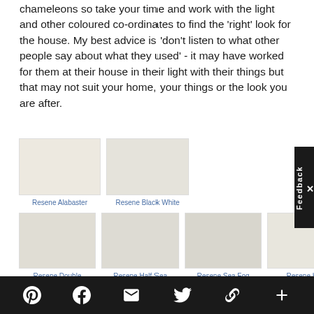chameleons so take your time and work with the light and other coloured co-ordinates to find the 'right' look for the house. My best advice is 'don't listen to what other people say about what they used' - it may have worked for them at their house in their light with their things but that may not suit your home, your things or the look you are after.
[Figure (other): Six paint color swatches arranged in two rows. Row 1: Resene Alabaster (warm off-white), Resene Black White (cool off-white). Row 2: Resene Double Alabaster, Resene Half Sea Fog, Resene Sea Fog, Resene Half Alabaster. Each swatch is a colored rectangle with a label below in blue text.]
Social share icons: Pinterest, Facebook, Email, Twitter, Link, Plus